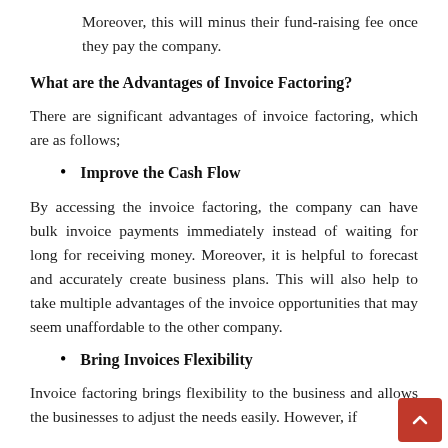Moreover, this will minus their fund-raising fee once they pay the company.
What are the Advantages of Invoice Factoring?
There are significant advantages of invoice factoring, which are as follows;
Improve the Cash Flow
By accessing the invoice factoring, the company can have bulk invoice payments immediately instead of waiting for long for receiving money. Moreover, it is helpful to forecast and accurately create business plans. This will also help to take multiple advantages of the invoice opportunities that may seem unaffordable to the other company.
Bring Invoices Flexibility
Invoice factoring brings flexibility to the business and allows the businesses to adjust the needs easily. However, if